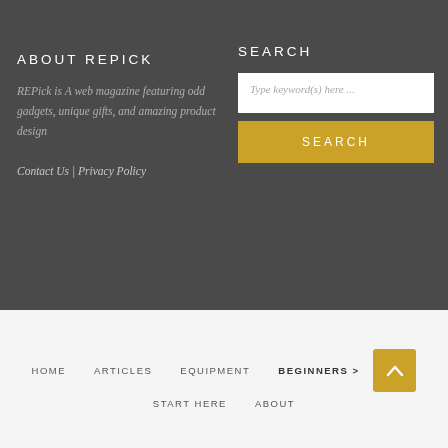ABOUT REPICK
REPick is A web magazine featuring odd gadgets, unique gifts, and amazing product design
Contact Us | Privacy Policy
SEARCH
Type keyword(s) here ...
SEARCH
HOME   ARTICLES   EQUIPMENT   BEGINNERS >   START HERE   ABOUT